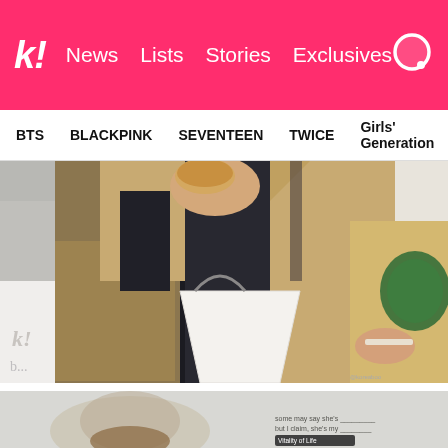k! News Lists Stories Exclusives [search icon]
BTS  BLACKPINK  SEVENTEEN  TWICE  Girls' Generation
[Figure (photo): Close-up photo of a person wearing a tan/beige trench coat and black top, holding food (possibly a pastry) in one hand and a Starbucks cup/bag in the other. A white shopping bag is visible in the foreground. Another person in gray is partially visible on the left.]
[Figure (photo): Partial view of a second photo showing a blurred figure with a text overlay reading 'some may say she's... but I claim, she's my... Vitality of Life']